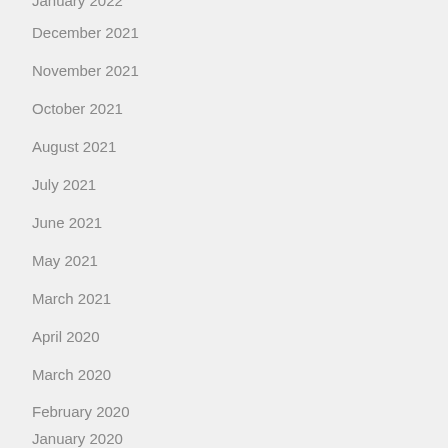January 2022
December 2021
November 2021
October 2021
August 2021
July 2021
June 2021
May 2021
March 2021
April 2020
March 2020
February 2020
January 2020